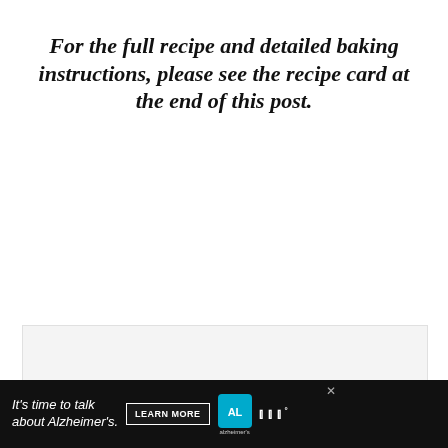For the full recipe and detailed baking instructions, please see the recipe card at the end of this post.
[Figure (photo): Image placeholder area with three navigation dots at bottom center; overlaid UI elements: heart/favorite button (blue circle), share button (grey circle), 'What's Next' card showing broccoli cheese dish thumbnail]
[Figure (screenshot): Advertisement bar: 'It's time to talk about Alzheimer's.' with LEARN MORE button, Alzheimer's Association logo, and media logo on black background]